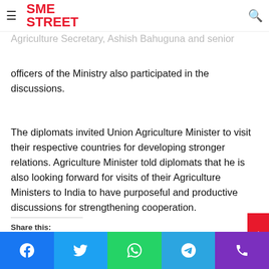SME STREET
Agriculture Secretary, Ashish Bahuguna and senior officers of the Ministry also participated in the discussions.
The diplomats invited Union Agriculture Minister to visit their respective countries for developing stronger relations. Agriculture Minister told diplomats that he is also looking forward for visits of their Agriculture Ministers to India to have purposeful and productive discussions for strengthening cooperation.
Share this: